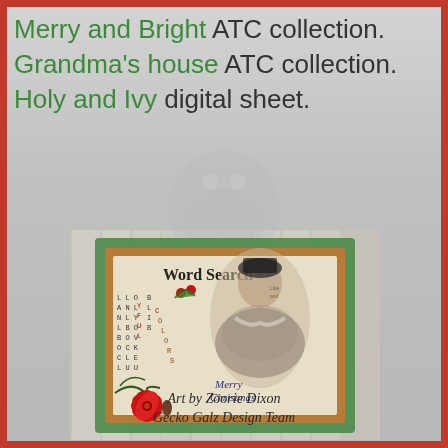Merry and Bright ATC collection. Grandma's house ATC collection. Holy and Ivy digital sheet.
[Figure (illustration): Vintage Christmas ATC card featuring a Victorian woman in a fur-trimmed coat, a word search puzzle, red poinsettia flower, holly berries, pine branches, and 'Merry Christmas' text, set on a wood plank background with a glittery green and copper border.]
Art by Zoorie Dixon Gecko Galz Design Team